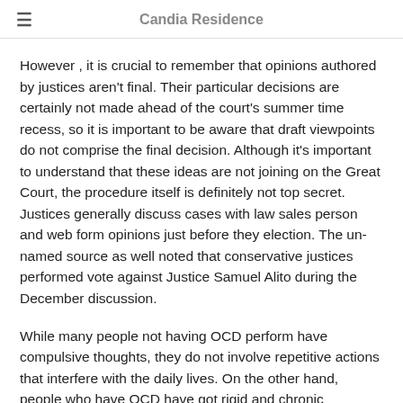Candia Residence
However , it is crucial to remember that opinions authored by justices aren't final. Their particular decisions are certainly not made ahead of the court's summer time recess, so it is important to be aware that draft viewpoints do not comprise the final decision. Although it's important to understand that these ideas are not joining on the Great Court, the procedure itself is definitely not top secret. Justices generally discuss cases with law sales person and web form opinions just before they election. The un-named source as well noted that conservative justices performed vote against Justice Samuel Alito during the December discussion.
While many people not having OCD perform have compulsive thoughts, they do not involve repetitive actions that interfere with the daily lives. On the other hand, people who have OCD have got rigid and chronic compulsions that disrupt all their